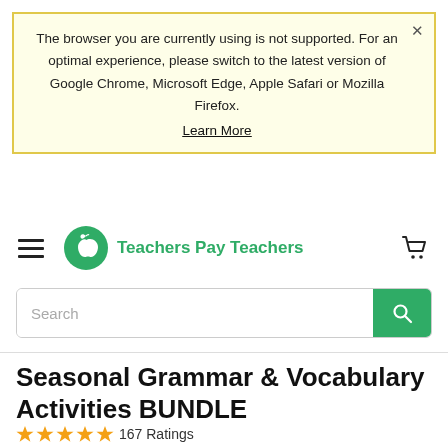The browser you are currently using is not supported. For an optimal experience, please switch to the latest version of Google Chrome, Microsoft Edge, Apple Safari or Mozilla Firefox. Learn More
[Figure (logo): Teachers Pay Teachers logo: green circle with apple icon and text 'Teachers Pay Teachers' in green]
Search
Seasonal Grammar & Vocabulary Activities BUNDLE
167 Ratings